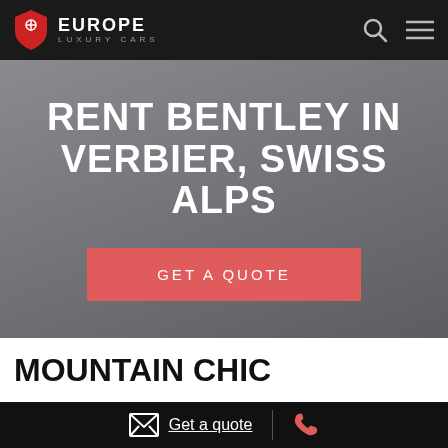EUROPE LUXURY CARS
RENT BENTLEY IN VERBIER, SWISS ALPS
GET A QUOTE
MOUNTAIN CHIC
Get a quote